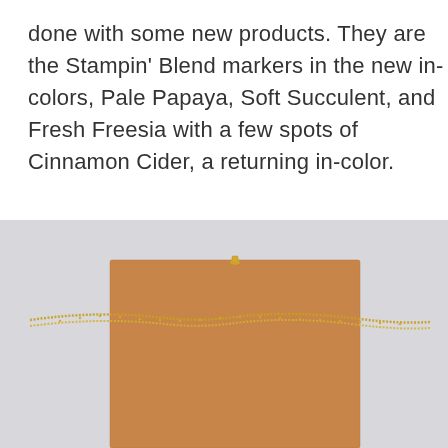done with some new products. They are the Stampin' Blend markers in the new in-colors, Pale Papaya, Soft Succulent, and Fresh Freesia with a few spots of Cinnamon Cider, a returning in-color.
[Figure (photo): A brown kraft paper bag or card holder with a gold beaded/ball chain draped across it horizontally, photographed on a light gray background.]